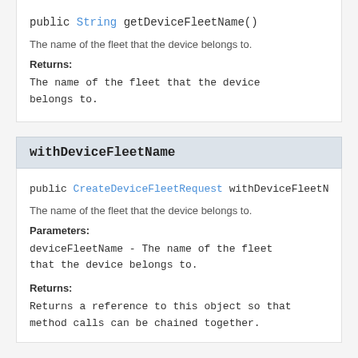public String getDeviceFleetName()
The name of the fleet that the device belongs to.
Returns:
The name of the fleet that the device belongs to.
withDeviceFleetName
public CreateDeviceFleetRequest withDeviceFleetNa
The name of the fleet that the device belongs to.
Parameters:
deviceFleetName - The name of the fleet that the device belongs to.
Returns:
Returns a reference to this object so that method calls can be chained together.